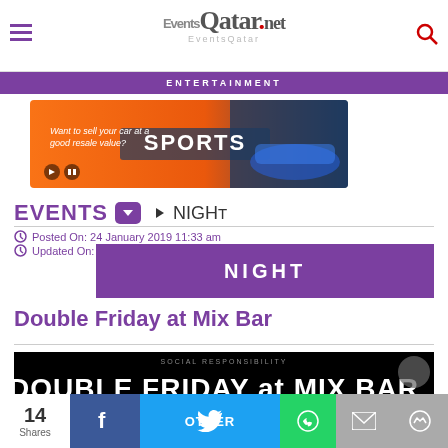EventsQatar.net
ENTERTAINMENT
[Figure (photo): Advertisement banner - Want to sell your car at a good resale value? SPORTS overlay with car image]
EVENTS ▾ ▶ NIGHT
Posted On: 24 January 2019 11:33 am
Updated On: 1...
NIGHT
Double Friday at Mix Bar
[Figure (photo): Promotional image for Double Friday at Mix Bar event - black background with white bold text, DOORS, ONE PLACE TWO PARTIES, 25 January 2019, INDOO...]
14 Shares